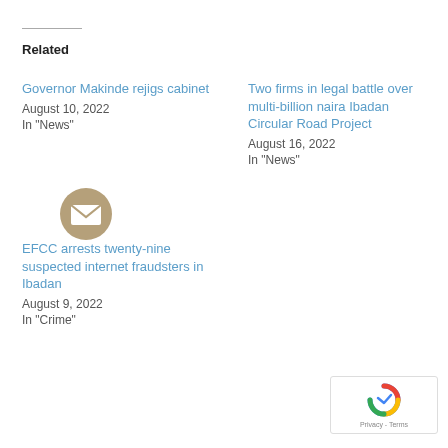Related
Governor Makinde rejigs cabinet
August 10, 2022
In "News"
Two firms in legal battle over multi-billion naira Ibadan Circular Road Project
August 16, 2022
In "News"
[Figure (illustration): Email/envelope icon — circular tan/beige background with a white envelope symbol]
EFCC arrests twenty-nine suspected internet fraudsters in Ibadan
August 9, 2022
In "Crime"
[Figure (logo): Google reCAPTCHA badge with blue spinning arrow logo and Privacy - Terms text]